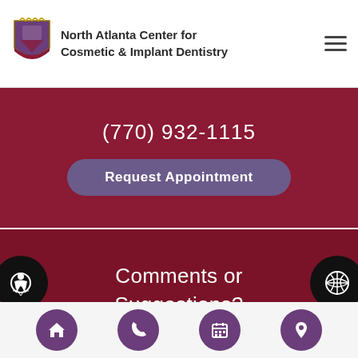[Figure (logo): North Atlanta Center for Cosmetic & Implant Dentistry logo with heraldic shield crest]
North Atlanta Center for Cosmetic & Implant Dentistry
(770) 932-1115
Request Appointment
Comments or Suggestions?
Contact Us
[Figure (infographic): Bottom navigation bar with home, phone, calendar, and location icons in purple circles]